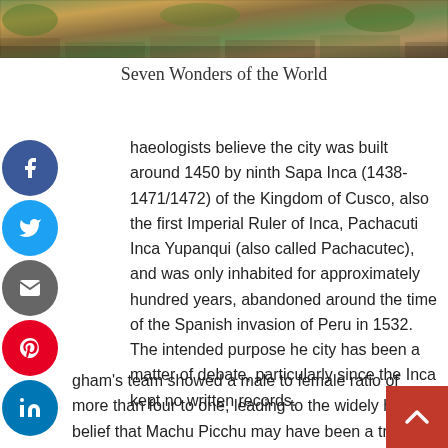[Figure (photo): Aerial or landscape photo of Machu Picchu ruins, showing stone terraces and structures with green vegetation]
Seven Wonders of the World
haeologists believe the city was built around 1450 by ninth Sapa Inca (1438-1471/1472) of the Kingdom of Cusco, also the first Imperial Ruler of Inca, Pachacuti Inca Yupanqui (also called Pachacutec), and was only inhabited for approximately hundred years, abandoned around the time of the Spanish invasion of Peru in 1532. The intended purpose he city has been a matter of debate, particularly since the Inca kept no written records.
gham's team showed a male to female ratio of more than four to one, leading to the widely held belief that Machu Picchu may have been a training ground for Sun Virgins. More recent examination of the bones by physical anthropologist John Verano dispelled this idea,